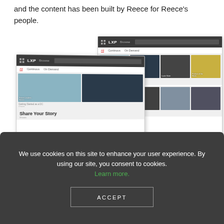and the content has been built by Reece for Reece's people.
[Figure (screenshot): Two overlapping screenshots of an LXP (Learning Experience Platform) interface showing a grid of content cards with topics like 'Future Leaders', 'Share Your Story', and 'Getting Started as a DC'. The interface has a dark top navigation bar with 'LXP', 'Browse', and a search bar.]
We use cookies on this site to enhance your user experience. By using our site, you consent to cookies. Learn more.
ACCEPT